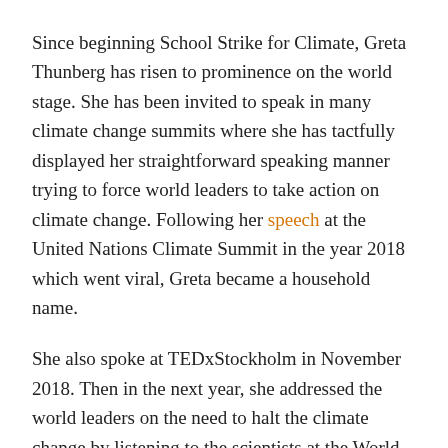Since beginning School Strike for Climate, Greta Thunberg has risen to prominence on the world stage. She has been invited to speak in many climate change summits where she has tactfully displayed her straightforward speaking manner trying to force world leaders to take action on climate change. Following her speech at the United Nations Climate Summit in the year 2018 which went viral, Greta became a household name.
She also spoke at TEDxStockholm in November 2018. Then in the next year, she addressed the world leaders on the need to halt the climate change by listening to the scientists at the World Economic